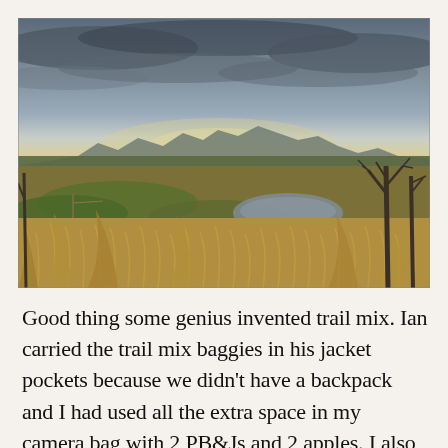[Figure (photo): Outdoor landscape photograph showing a wetland or marshland scene with tall dry golden grasses, a small reflective pond or stream, green grass patches, bare winter trees on the right, distant hills or mountains on the horizon, and a dramatic cloudy sky with some lighter areas near the horizon suggesting overcast winter conditions.]
Good thing some genius invented trail mix. Ian carried the trail mix baggies in his jacket pockets because we didn't have a backpack and I had used all the extra space in my camera bag with 2 PB&Js and 2 apples. I also carried a water bottle strapped to the back of my camera bag (that trick bladder